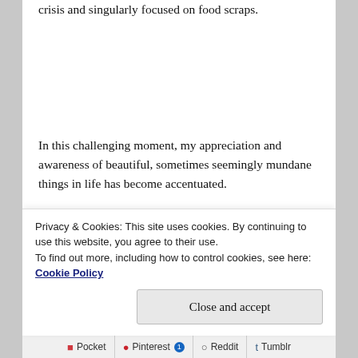crisis and singularly focused on food scraps.
In this challenging moment, my appreciation and awareness of beautiful, sometimes seemingly mundane things in life has become accentuated.
I have taped to my computer a quote by Rabbi Abraham Joshua Heschel, “Our goal should be to live in radical amazement. Everything is phenomenal; everything is incredible; never treat life casually. To
Privacy & Cookies: This site uses cookies. By continuing to use this website, you agree to their use.
To find out more, including how to control cookies, see here: Cookie Policy
Pocket  Pinterest 1  Reddit  Tumblr